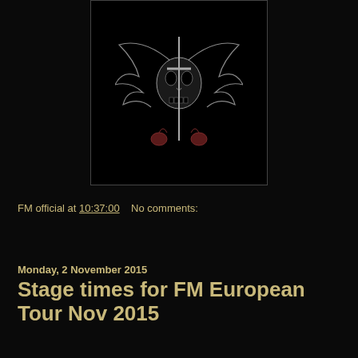[Figure (illustration): Dark decorative winged skull emblem with ornate scroll-work on black background, framed with a thin border]
FM official at 10:37:00   No comments:
Share
Monday, 2 November 2015
Stage times for FM European Tour Nov 2015
Stage times for our European Tour starting this Wednesday:
Wednesday 4 November 2015 - Northampton Roadmender
Doors:  19.30h